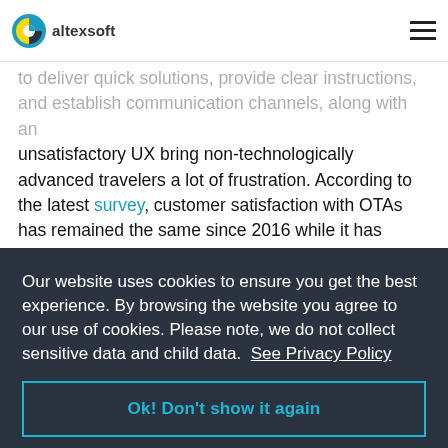altexsoft
unsatisfactory UX bring non-technologically advanced travelers a lot of frustration. According to the latest survey, customer satisfaction with OTAs has remained the same since 2016 while it has increased for airline and hotel websites.
To ensure your customers won't leave a disappointed review on social media, pay attention to these pain points.
Our website uses cookies to ensure you get the best experience. By browsing the website you agree to our use of cookies. Please note, we do not collect sensitive data and child data.  See Privacy Policy
Ok! Don't show it again